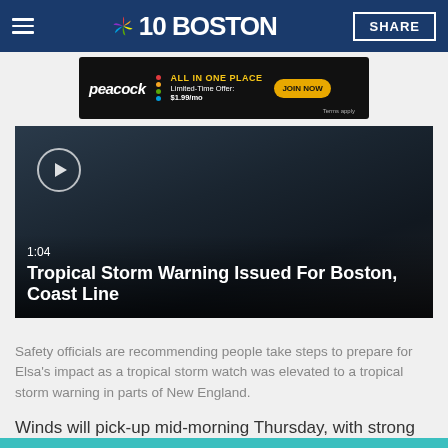NBC 10 BOSTON
[Figure (screenshot): Peacock advertisement banner: 'ALL IN ONE PLACE Limited-Time Offer: $1.99/mo JOIN NOW Terms apply']
[Figure (screenshot): Video thumbnail showing dark stormy ocean scene with play button. Time code 1:04. Title: Tropical Storm Warning Issued For Boston, Coast Line]
Safety officials are recommending people take steps to prepare for Elsa's impact as a tropical storm watch was elevated to a tropical storm warning in parts of New England.
Winds will pick-up mid-morning Thursday, with strong southeast winds gusting 55 to 60 mph across the Cape and Islands. North of the circulation, winds won't be as powerful.